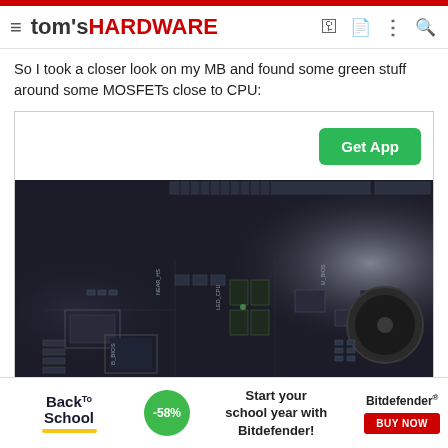tom's HARDWARE
So I took a closer look on my MB and found some green stuff around some MOSFETs close to CPU:
[Figure (photo): Close-up photograph of a motherboard (MB) showing various components including MOSFETs, BIOS chips, and other components near the CPU area. Text labels visible on the board include NEAR_HS, LED_CPU, B_BIOS, M_BIOS. A 'Get App' button overlay is visible in the upper right of the image area.]
[Figure (infographic): Advertisement banner for Bitdefender Back to School promotion with -58% discount. Text reads: 'Start your school year with Bitdefender!' with a 'BUY NOW' button.]